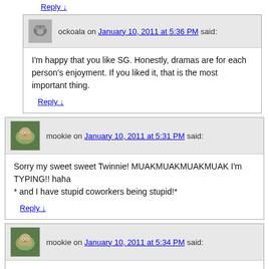Reply ↓
ockoala on January 10, 2011 at 5:36 PM said:
I'm happy that you like SG. Honestly, dramas are for each person's enjoyment. If you liked it, that is the most important thing.
Reply ↓
mookie on January 10, 2011 at 5:31 PM said:
Sorry my sweet sweet Twinnie! MUAKMUAKMUAKMUAK I'm TYPING!! haha
* and I have stupid coworkers being stupid!*
Reply ↓
mookie on January 10, 2011 at 5:34 PM said:
lolz it gives me a big fat smile you know I'll bring CH in. *HUG MY TWINNIE*